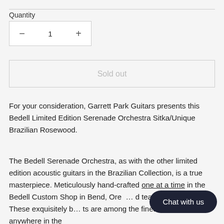Quantity
- 1 +
Sold out
For your consideration, Garrett Park Guitars presents this Bedell Limited Edition Serenade Orchestra Sitka/Unique Brazilian Rosewood.
The Bedell Serenade Orchestra, as with the other limited edition acoustic guitars in the Brazilian Collection, is a true masterpiece. Meticulously hand-crafted one at a time in the Bedell Custom Shop in Bend, Oreg… d team of craftsmen. These exquisitely b… ts are among the finest guitars crafted anywhere in the
Chat with us